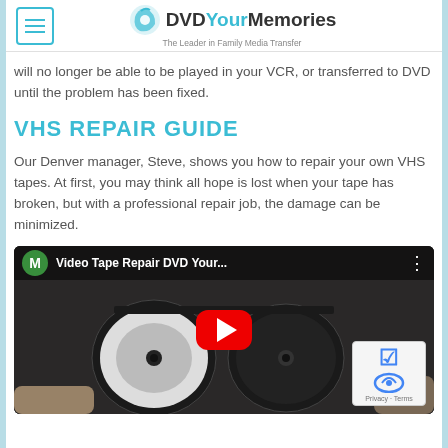DVDYourMemories - The Leader in Family Media Transfer
will no longer be able to be played in your VCR, or transferred to DVD until the problem has been fixed.
VHS REPAIR GUIDE
Our Denver manager, Steve, shows you how to repair your own VHS tapes. At first, you may think all hope is lost when your tape has broken, but with a professional repair job, the damage can be minimized.
[Figure (screenshot): YouTube video embed titled 'Video Tape Repair DVD Your...' showing a VHS tape being repaired, with a red play button overlay. A green avatar with letter M is shown in the top-left. A reCAPTCHA badge is visible at the bottom right.]